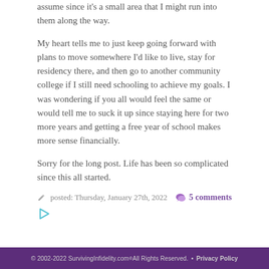assume since it's a small area that I might run into them along the way.
My heart tells me to just keep going forward with plans to move somewhere I'd like to live, stay for residency there, and then go to another community college if I still need schooling to achieve my goals. I was wondering if you all would feel the same or would tell me to suck it up since staying here for two more years and getting a free year of school makes more sense financially.
Sorry for the long post. Life has been so complicated since this all started.
posted: Thursday, January 27th, 2022   5 comments
© 2002-2022 SurvivingInfidelity.com® All Rights Reserved. • Privacy Policy